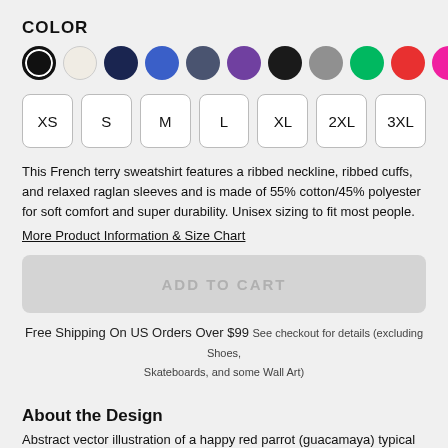COLOR
[Figure (illustration): Row of 11 color swatches: black (selected with ring), cream/white, dark navy, royal blue, slate blue, purple, black, gray, green, red, hot pink]
[Figure (illustration): Size selector buttons: XS, S, M, L, XL, 2XL, 3XL]
This French terry sweatshirt features a ribbed neckline, ribbed cuffs, and relaxed raglan sleeves and is made of 55% cotton/45% polyester for soft comfort and super durability. Unisex sizing to fit most people.
More Product Information & Size Chart
ADD TO CART
Free Shipping On US Orders Over $99 See checkout for details (excluding Shoes, Skateboards, and some Wall Art)
About the Design
Abstract vector illustration of a happy red parrot (guacamaya) typical of